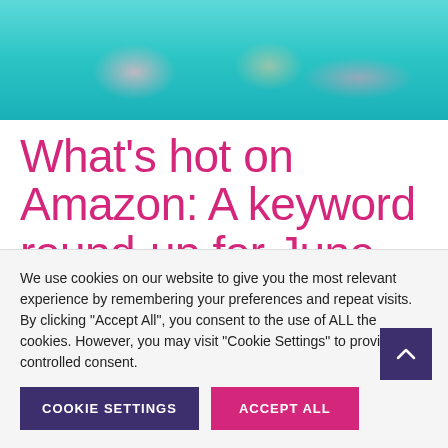[Figure (photo): People swimming in a pool with colorful inflatable floats, viewed from above, turquoise water.]
What's hot on Amazon: A keyword round-up for June
We use cookies on our website to give you the most relevant experience by remembering your preferences and repeat visits. By clicking "Accept All", you consent to the use of ALL the cookies. However, you may visit "Cookie Settings" to provide a controlled consent.